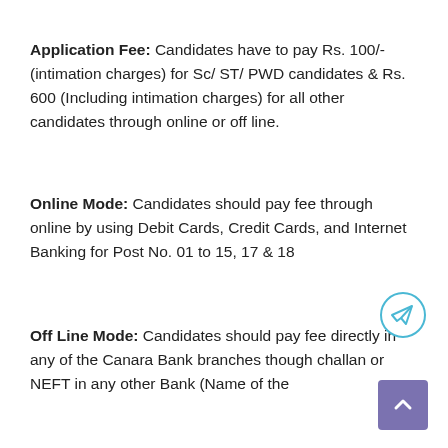Application Fee: Candidates have to pay Rs. 100/- (intimation charges) for Sc/ ST/ PWD candidates & Rs. 600 (Including intimation charges) for all other candidates through online or off line.
Online Mode: Candidates should pay fee through online by using Debit Cards, Credit Cards, and Internet Banking for Post No. 01 to 15, 17 & 18
Off Line Mode: Candidates should pay fee directly in any of the Canara Bank branches though challan or NEFT in any other Bank (Name of the